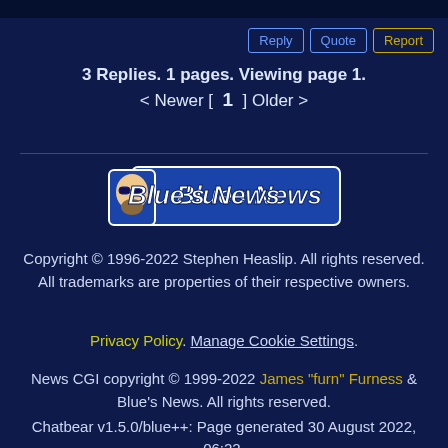Reply | Quote | Report
3 Replies. 1 pages. Viewing page 1.
< Newer [  1  ] Older >
[Figure (logo): Blue's News logo — white cartoon character with blue sunglasses on a blue banner with white text]
Copyright © 1996-2022 Stephen Heaslip. All rights reserved.
All trademarks are properties of their respective owners.
Privacy Policy. Manage Cookie Settings.
News CGI copyright © 1999-2022 James "furn" Furness & Blue's News. All rights reserved.
Chatbear v1.5.0/blue++: Page generated 30 August 2022, 06:22.